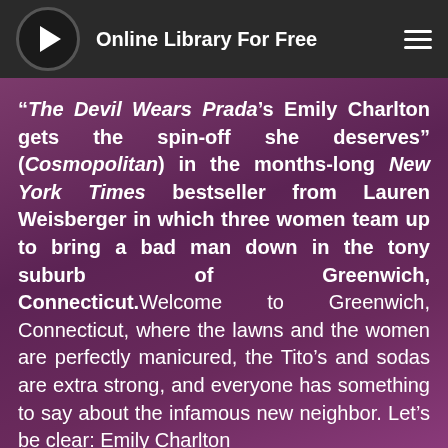Online Library For Free
“The Devil Wears Prada’s Emily Charlton gets the spin-off she deserves” (Cosmopolitan) in the months-long New York Times bestseller from Lauren Weisberger in which three women team up to bring a bad man down in the tony suburb of Greenwich, Connecticut.Welcome to Greenwich, Connecticut, where the lawns and the women are perfectly manicured, the Tito’s and sodas are extra strong, and everyone has something to say about the infamous new neighbor. Let’s be clear: Emily Charlton